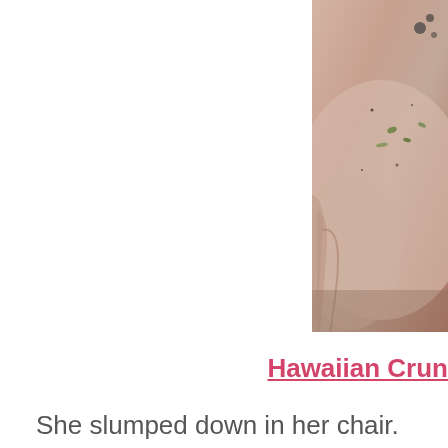[Figure (photo): Close-up photo of a food dish with creamy sauce and herb garnish, partially visible, cropped at right edge of page]
Hawaiian Crun
She slumped down in her chair.  Her ve flowed over the back of her seat, like ah over her chair a good 10 inches or so. seem fair that mine was so fine and thin
When everyone seemed to be concentr
I quietly reached into my backpack and stored.